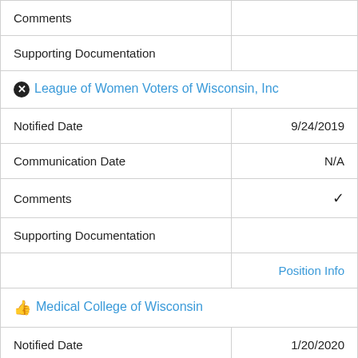| Comments |  |
| Supporting Documentation |  |
| ⊗ League of Women Voters of Wisconsin, Inc |  |
| Notified Date | 9/24/2019 |
| Communication Date | N/A |
| Comments | ✔ |
| Supporting Documentation |  |
|  | Position Info |
| 👍 Medical College of Wisconsin |  |
| Notified Date | 1/20/2020 |
| Communication Date | N/A |